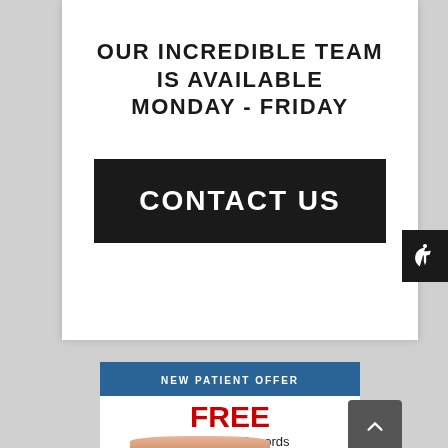OUR INCREDIBLE TEAM IS AVAILABLE MONDAY - FRIDAY
CONTACT US
NEW PATIENT OFFER
FREE
Orthodontic Records Consultation
Zoom Whitening Upon Completion